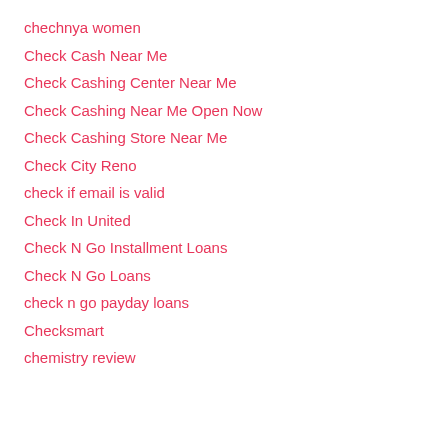chechnya women
Check Cash Near Me
Check Cashing Center Near Me
Check Cashing Near Me Open Now
Check Cashing Store Near Me
Check City Reno
check if email is valid
Check In United
Check N Go Installment Loans
Check N Go Loans
check n go payday loans
Checksmart
chemistry review